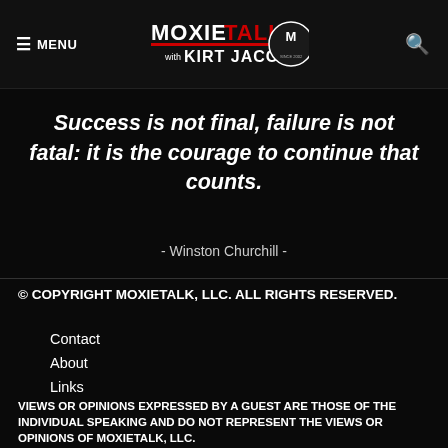≡ MENU  MOXIETALK with KIRT JACOBS  [logo]  Q
Success is not final, failure is not fatal: it is the courage to continue that counts.
- Winston Churchill -
© COPYRIGHT MOXIETALK, LLC. ALL RIGHTS RESERVED.
Contact
About
Links
VIEWS OR OPINIONS EXPRESSED BY A GUEST ARE THOSE OF THE INDIVIDUAL SPEAKING AND DO NOT REPRESENT THE VIEWS OR OPINIONS OF MOXIETALK, LLC.